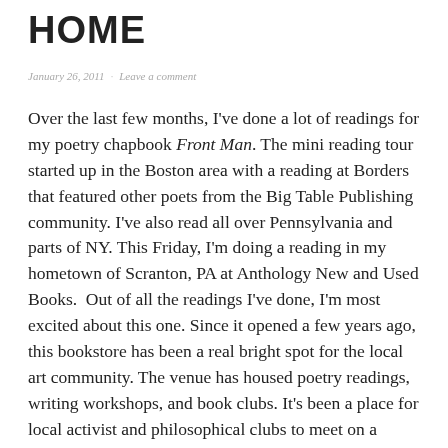HOME
January 26, 2011 · Leave a comment
Over the last few months, I've done a lot of readings for my poetry chapbook Front Man. The mini reading tour started up in the Boston area with a reading at Borders that featured other poets from the Big Table Publishing community. I've also read all over Pennsylvania and parts of NY. This Friday, I'm doing a reading in my hometown of Scranton, PA at Anthology New and Used Books.  Out of all the readings I've done, I'm most excited about this one. Since it opened a few years ago, this bookstore has been a real bright spot for the local art community. The venue has housed poetry readings, writing workshops, and book clubs. It's been a place for local activist and philosophical clubs to meet on a weekly basis.